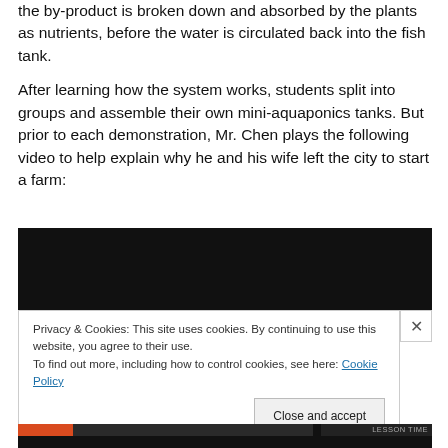the by-product is broken down and absorbed by the plants as nutrients, before the water is circulated back into the fish tank.
After learning how the system works, students split into groups and assemble their own mini-aquaponics tanks. But prior to each demonstration, Mr. Chen plays the following video to help explain why he and his wife left the city to start a farm:
[Figure (screenshot): Embedded video player with a black/dark background. A cookie consent banner overlays the lower portion of the video player, stating 'Privacy & Cookies: This site uses cookies. By continuing to use this website, you agree to their use. To find out more, including how to control cookies, see here: Cookie Policy' with a 'Close and accept' button and an X close button. The video player has a progress/seek bar at the bottom with red and dark segments.]